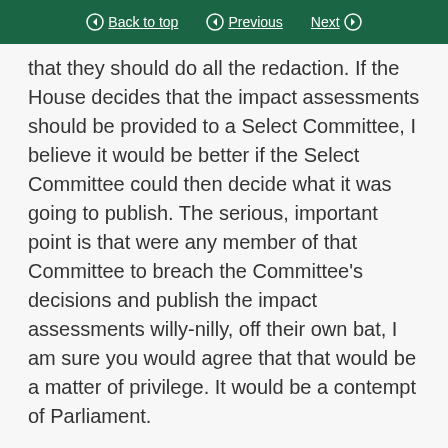Back to top | Previous | Next
that they should do all the redaction. If the House decides that the impact assessments should be provided to a Select Committee, I believe it would be better if the Select Committee could then decide what it was going to publish. The serious, important point is that were any member of that Committee to breach the Committee's decisions and publish the impact assessments willy-nilly, off their own bat, I am sure you would agree that that would be a matter of privilege. It would be a contempt of Parliament.
Madam Deputy Speaker
I thank the hon. Gentleman for his most interesting